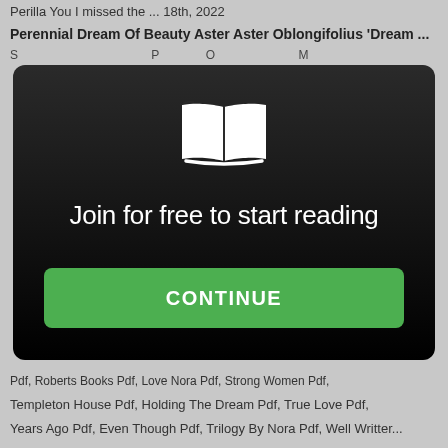Perilla You I missed the ... 18th, 2022
Perennial Dream Of Beauty Aster Aster Oblongifolius 'Dream ...
[Figure (illustration): Dark modal overlay with white open book icon, text 'Join for free to start reading', and a green CONTINUE button]
Pdf, Roberts Books Pdf, Love Nora Pdf, Strong Women Pdf, Templeton House Pdf, Holding The Dream Pdf, True Love Pdf, Years Ago Pdf, Even Though Pdf, Trilogy By Nora Pdf, Well Written...